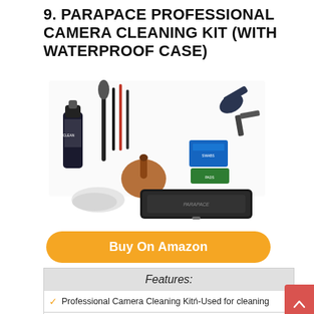9. PARAPACE PROFESSIONAL CAMERA CLEANING KIT (WITH WATERPROOF CASE)
[Figure (photo): Product photo of the Parapace Professional Camera Cleaning Kit, showing various cleaning tools including brushes, blower, sensor swabs, cleaning solution, lens cleaning pens, and a black hard shell protective case.]
Buy On Amazon
|  | Features: |
| --- | --- |
| ✓ | Professional Camera Cleaning Kitⴙ-Used for cleaning |
| ✓ | Sensor Cleaning Swabsⴙ-Absorb and remove invisible |
| ✓ | Uni-body air blowerⴙ-The blower will guide the air flow to |
| ✓ | Hard Shell Protective Caseⴙ-Tidy up all cleaning kits and |
| ✓ | Double Sided Lens Cleaning Penⴙ-This tool has a dust |